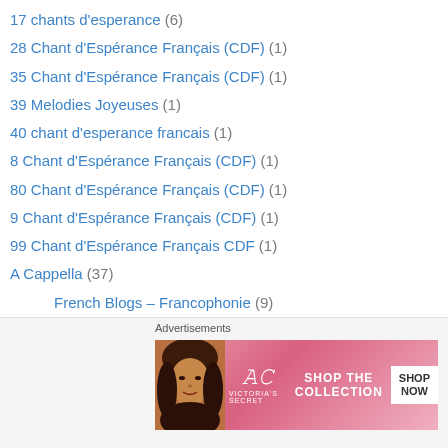17 chants d'esperance (6)
28 Chant d'Espérance Français (CDF) (1)
35 Chant d'Espérance Français (CDF) (1)
39 Melodies Joyeuses (1)
40 chant d'esperance francais (1)
8 Chant d'Espérance Français (CDF) (1)
80 Chant d'Espérance Français (CDF) (1)
9 Chant d'Espérance Français (CDF) (1)
99 Chant d'Espérance Français CDF (1)
A Cappella (37)
French Blogs – Francophonie (9)
A Cappella Creole (34)
anyen pase san jezu-kri (1)
A Cappella Francais (15)
A Cappella French (10)
adoration et louange (3)
all chants (8)
Advertisements
[Figure (photo): Victoria's Secret advertisement banner with woman's face and 'SHOP THE COLLECTION' text with 'SHOP NOW' button]